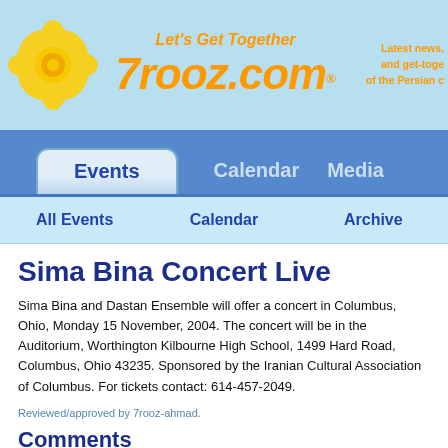Let's Get Together 7rooz.com® — Latest news, and get-togethers of the Persian c...
Events | Calendar | Media
All Events | Calendar | Archive
Sima Bina Concert Live
Sima Bina and Dastan Ensemble will offer a concert in Columbus, Ohio, Monday 15 November, 2004. The concert will be in the Auditorium, Worthington Kilbourne High School, 1499 Hard Road, Columbus, Ohio 43235. Sponsored by the Iranian Cultural Association of Columbus. For tickets contact: 614-457-2049.
Reviewed/approved by 7rooz-ahmad.
Comments